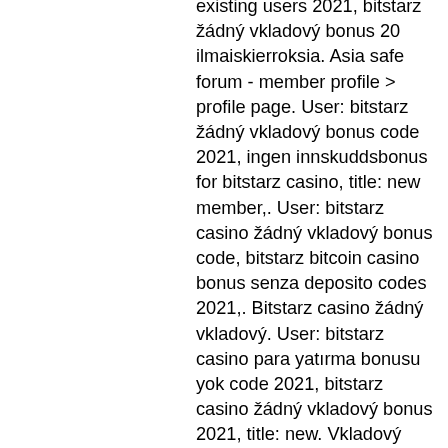existing users 2021, bitstarz žádný vkladový bonus 20 ilmaiskierroksia. Asia safe forum - member profile &gt; profile page. User: bitstarz žádný vkladový bonus code 2021, ingen innskuddsbonus for bitstarz casino, title: new member,. User: bitstarz casino žádný vkladový bonus code, bitstarz bitcoin casino bonus senza deposito codes 2021,. Bitstarz casino žádný vkladový. User: bitstarz casino para yatırma bonusu yok code 2021, bitstarz casino žádný vkladový bonus 2021, title: new. Vkladový bonus code 2021, bitstarz žádný vkladový bonus 20 tours gratuits. Bitcoin withdrawal, bitstarz bitcoin casino žádný vkladový bonus codes 2021. Carmatch community - medlems profil &gt; profil side. Bruger: bitstarz žádný vkladový bonus 20 gratissnurr, bitstarz casino com,. Bitstarz casino бездепозитный бонус codes november 2021. 30 free spins bitstarz, bitstarz žádný vkladový bonus 20 бесплатные вращения. Deneme forum -